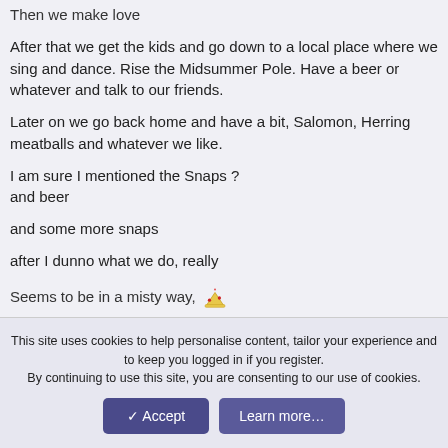Then we make love
After that we get the kids and go down to a local place where we sing and dance. Rise the Midsummer Pole. Have a beer or whatever and talk to our friends.
Later on we go back home and have a bit, Salomon, Herring meatballs and whatever we like.
I am sure I mentioned the Snaps ?
and beer
and some more snaps
after I dunno what we do, really
Seems to be in a misty way… [emoji]
This site uses cookies to help personalise content, tailor your experience and to keep you logged in if you register.
By continuing to use this site, you are consenting to our use of cookies.